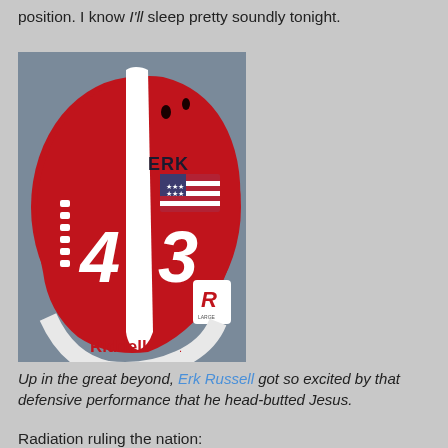position. I know I'll sleep pretty soundly tonight.
[Figure (photo): A red Riddell football helmet with a white stripe, number 43, ERK text, American flag decal, and Riddell branding on the chin strap.]
Up in the great beyond, Erk Russell got so excited by that defensive performance that he head-butted Jesus.
Radiation ruling the nation: